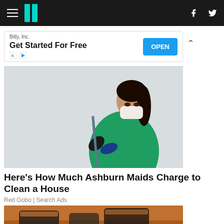HuffPost navigation bar with hamburger menu, logo, Facebook and Twitter icons
[Figure (screenshot): Advertisement banner: Bitly, Inc. - Get Started For Free with OPEN button]
[Figure (photo): A woman in green scrubs and black gloves wearing a white face mask, holding a mop handle, standing against a white wall - maid/cleaning professional]
Here's How Much Ashburn Maids Charge to Clean a House
Red Gobo | Search Ads
[Figure (photo): Partial view of orange and black equipment or tools - bottom portion cropped]